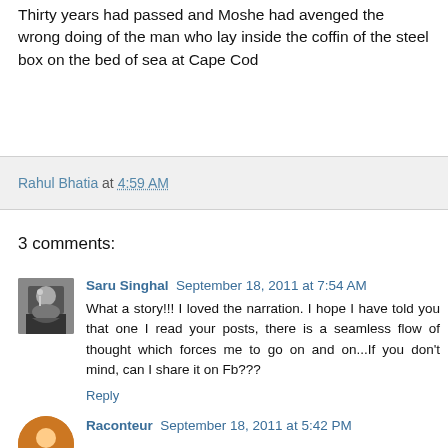Thirty years had passed and Moshe had avenged the wrong doing of the man who lay inside the coffin of the steel box on the bed of sea at Cape Cod
Rahul Bhatia at 4:59 AM
3 comments:
Saru Singhal September 18, 2011 at 7:54 AM
What a story!!! I loved the narration. I hope I have told you that one I read your posts, there is a seamless flow of thought which forces me to go on and on...If you don't mind, can I share it on Fb???
Reply
Raconteur September 18, 2011 at 5:42 PM